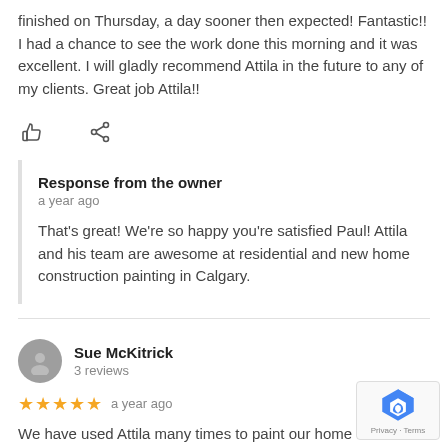finished on Thursday, a day sooner then expected! Fantastic!! I had a chance to see the work done this morning and it was excellent. I will gladly recommend Attila in the future to any of my clients. Great job Attila!!
[Figure (illustration): Thumbs up and share icons]
Response from the owner
a year ago

That's great! We're so happy you're satisfied Paul! Attila and his team are awesome at residential and new home construction painting in Calgary.
[Figure (illustration): Reviewer avatar for Sue McKitrick - grey circle with person silhouette]
Sue McKitrick
3 reviews
★★★★★  a year ago
We have used Attila many times to paint our home and